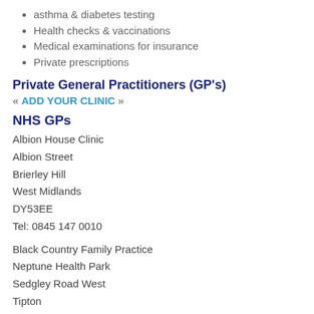asthma & diabetes testing
Health checks & vaccinations
Medical examinations for insurance
Private prescriptions
Private General Practitioners (GP's)
« ADD YOUR CLINIC »
NHS GPs
Albion House Clinic
Albion Street
Brierley Hill
West Midlands
DY53EE
Tel: 0845 147 0010
Black Country Family Practice
Neptune Health Park
Sedgley Road West
Tipton
DY48PX